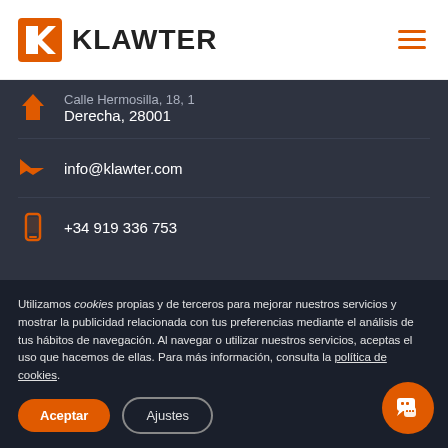[Figure (logo): Klawter logo with orange K icon and bold KLAWTER text, plus hamburger menu icon on right]
Calle Hermosilla, 18, 1 Derecha, 28001
info@klawter.com
+34 919 336 753
Utilizamos cookies propias y de terceros para mejorar nuestros servicios y mostrar la publicidad relacionada con tus preferencias mediante el análisis de tus hábitos de navegación. Al navegar o utilizar nuestros servicios, aceptas el uso que hacemos de ellas. Para más información, consulta la política de cookies.
Aceptar
Ajustes